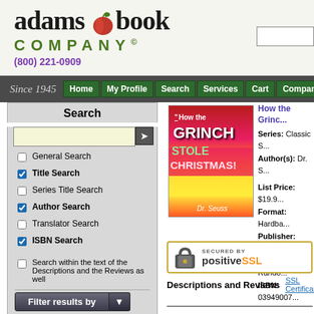[Figure (logo): Adams Book Company logo with apple replacing letter 'o', green COMPANY text, phone number (800) 221-0909]
Since 1945 | Home | My Profile | Search | Services | Cart | Company I
Search
General Search (unchecked)
Title Search (checked)
Series Title Search (unchecked)
Author Search (checked)
Translator Search (unchecked)
ISBN Search (checked)
Search within the text of the Descriptions and the Reviews as well
[Figure (photo): Book cover of How the Grinch Stole Christmas by Dr. Seuss with colorful gradient background]
How the Grinc...
Series: Classic S...
Author(s): Dr. S...
List Price: $19.9...
Format: Hardba...
Publisher: Rand...
Imprint: Rando...
ISBN: 03949007...
[Figure (other): Secured by PositiveSSL badge with lock icon]
Descriptions and Reviews
SSL Certificate